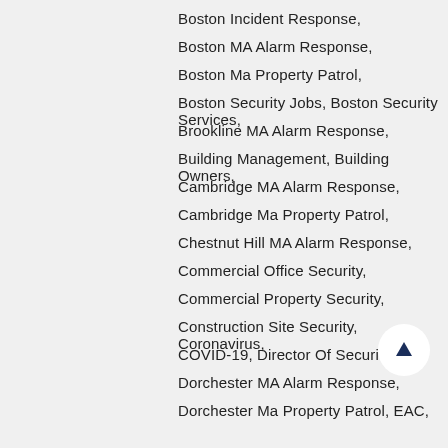Boston Incident Response,
Boston MA Alarm Response,
Boston Ma Property Patrol,
Boston Security Jobs, Boston Security Services,
Brookline MA Alarm Response,
Building Management, Building Owners,
Cambridge MA Alarm Response,
Cambridge Ma Property Patrol,
Chestnut Hill MA Alarm Response,
Commercial Office Security,
Commercial Property Security,
Construction Site Security, Coronavirus,
COVID-19, Director Of Security,
Dorchester MA Alarm Response,
Dorchester Ma Property Patrol, EAC,